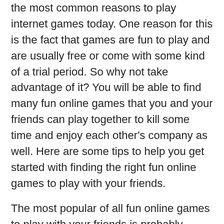the most common reasons to play internet games today. One reason for this is the fact that games are fun to play and are usually free or come with some kind of a trial period. So why not take advantage of it? You will be able to find many fun online games that you and your friends can play together to kill some time and enjoy each other's company as well. Here are some tips to help you get started with finding the right fun online games to play with your friends.
The most popular of all fun online games to play with your friends is probably Battle Royal. This is one of the most famous and long-standing games on the World Wide Web. In Battle Royal you are given a goal, defeat all the opponents and be the first player to reach the final destination, win. Of course, be the first to capture all the cards, win the game and get the highest score possible!
If you want to play some fun online games that have a good